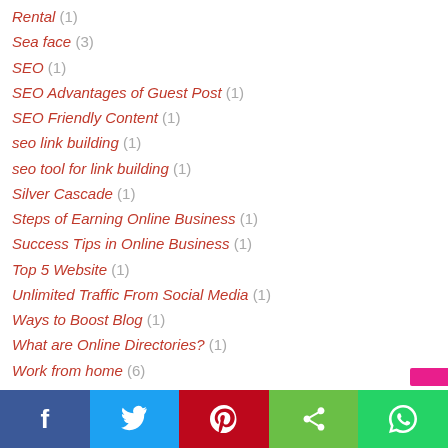Rental (1)
Sea face (3)
SEO (1)
SEO Advantages of Guest Post (1)
SEO Friendly Content (1)
seo link building (1)
seo tool for link building (1)
Silver Cascade (1)
Steps of Earning Online Business (1)
Success Tips in Online Business (1)
Top 5 Website (1)
Unlimited Traffic From Social Media (1)
Ways to Boost Blog (1)
What are Online Directories? (1)
Work from home (6)